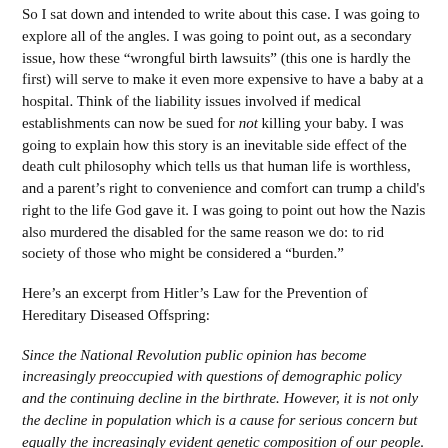So I sat down and intended to write about this case. I was going to explore all of the angles. I was going to point out, as a secondary issue, how these "wrongful birth lawsuits" (this one is hardly the first) will serve to make it even more expensive to have a baby at a hospital. Think of the liability issues involved if medical establishments can now be sued for not killing your baby. I was going to explain how this story is an inevitable side effect of the death cult philosophy which tells us that human life is worthless, and a parent's right to convenience and comfort can trump a child's right to the life God gave it. I was going to point out how the Nazis also murdered the disabled for the same reason we do: to rid society of those who might be considered a "burden."
Here's an excerpt from Hitler's Law for the Prevention of Hereditary Diseased Offspring:
Since the National Revolution public opinion has become increasingly preoccupied with questions of demographic policy and the continuing decline in the birthrate. However, it is not only the decline in population which is a cause for serious concern but equally the increasingly evident genetic composition of our people. Whereas the hereditarily healthy...